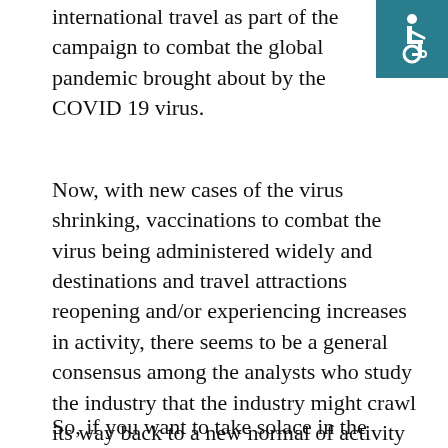international travel as part of the campaign to combat the global pandemic brought about by the COVID 19 virus.
[Figure (illustration): Wheelchair accessibility icon — white wheelchair symbol on teal/dark cyan square background]
Now, with new cases of the virus shrinking, vaccinations to combat the virus being administered widely and destinations and travel attractions reopening and/or experiencing increases in activity, there seems to be a general consensus among the analysts who study the industry that the industry might crawl its way back to a new normal of activity some time in the third quarter of this year.
So, if you want to take solace in the numbers